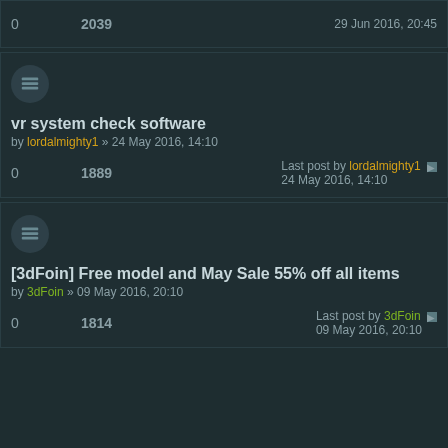0  2039  29 Jun 2016, 20:45
vr system check software
by lordalmighty1 » 24 May 2016, 14:10
0  1889  Last post by lordalmighty1  24 May 2016, 14:10
[3dFoin] Free model and May Sale 55% off all items
by 3dFoin » 09 May 2016, 20:10
0  1814  Last post by 3dFoin  09 May 2016, 20:10